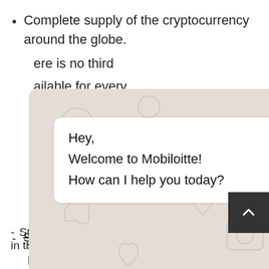Complete supply of the cryptocurrency around the globe.
…there is no third …available for every …vestment. …lated tokens …t in the future. …helps effectively …ryptocurrency …the initial s… …ed.
[Figure (screenshot): A WhatsApp-style chat widget popup overlaying background text. The widget shows a chat window with a patterned background (WhatsApp icons), a white chat bubble with text 'Hey, Welcome to Mobiloitte! How can I help you today?', a close (X) button in dark green at top right, a text input bar at the bottom, and a green send button. A dark scroll-up arrow button appears at bottom right.]
Stabilized and significant improvement in the sales process/return rate for the potential…